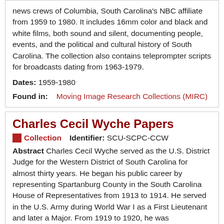news crews of Columbia, South Carolina's NBC affiliate from 1959 to 1980. It includes 16mm color and black and white films, both sound and silent, documenting people, events, and the political and cultural history of South Carolina. The collection also contains teleprompter scripts for broadcasts dating from 1963-1979.
Dates: 1959-1980
Found in: Moving Image Research Collections (MIRC)
Charles Cecil Wyche Papers
Collection   Identifier: SCU-SCPC-CCW
Abstract Charles Cecil Wyche served as the U.S. District Judge for the Western District of South Carolina for almost thirty years. He began his public career by representing Spartanburg County in the South Carolina House of Representatives from 1913 to 1914. He served in the U.S. Army during World War I as a First Lieutenant and later a Major. From 1919 to 1920, he was...